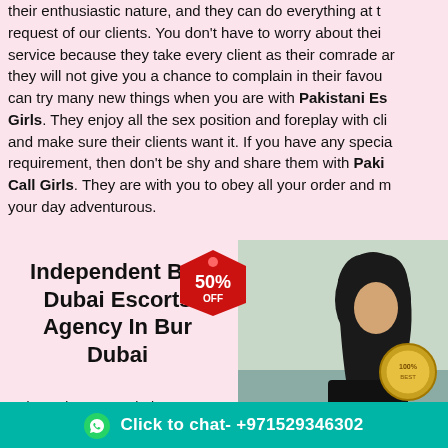their enthusiastic nature, and they can do everything at the request of our clients. You don't have to worry about their service because they take every client as their comrade and they will not give you a chance to complain in their favour. You can try many new things when you are with Pakistani Escort Girls. They enjoy all the sex position and foreplay with clients and make sure their clients want it. If you have any special requirement, then don't be shy and share them with Pakistani Call Girls. They are with you to obey all your order and make your day adventurous.
Independent Bur Dubai Escorts Agency In Bur Dubai
[Figure (photo): Woman with long dark hair wearing dark clothing, with a red 50% OFF price tag badge overlay and a gold 100% seal badge]
Independent Bur Dubai Escorts – Ho... Rates with Bur Dubai
Click to chat- +971529346302